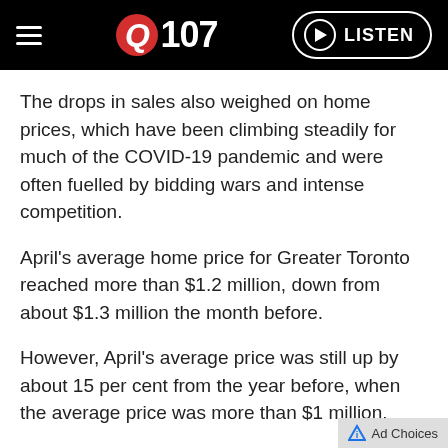Q107 — LISTEN
The drops in sales also weighed on home prices, which have been climbing steadily for much of the COVID-19 pandemic and were often fuelled by bidding wars and intense competition.
April's average home price for Greater Toronto reached more than $1.2 million, down from about $1.3 million the month before.
However, April's average price was still up by about 15 per cent from the year before, when the average price was more than $1 million.
Zanganas believes it is taking time for sellers to adjust to the market's current conditions.
“A lot of these sellers are not accepting the reality of what’s happening, so they’re still overpr…